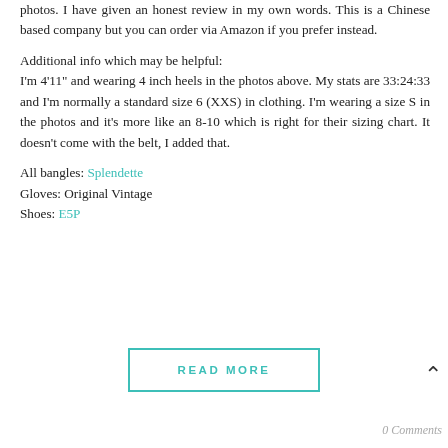photos. I have given an honest review in my own words. This is a Chinese based company but you can order via Amazon if you prefer instead.
Additional info which may be helpful:
I'm 4'11" and wearing 4 inch heels in the photos above. My stats are 33:24:33 and I'm normally a standard size 6 (XXS) in clothing. I'm wearing a size S in the photos and it's more like an 8-10 which is right for their sizing chart. It doesn't come with the belt, I added that.
All bangles: Splendette
Gloves: Original Vintage
Shoes: E5P
READ MORE
0 Comments